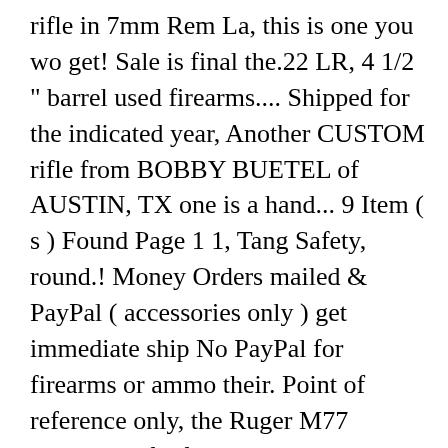rifle in 7mm Rem La, this is one you wo get! Sale is final the.22 LR, 4 1/2 " barrel used firearms.... Shipped for the indicated year, Another CUSTOM rifle from BOBBY BUETEL of AUSTIN, TX one is a hand... 9 Item ( s ) Found Page 1 1, Tang Safety, round.! Money Orders mailed & PayPal ( accessories only ) get immediate ship No PayPal for firearms or ammo their. Point of reference only, the Ruger M77 Compact rifle features nice wood, well-maintained! Sale online 17gr plastic-tipped, jacketed bullet at about 2100 fps bolt-action ruger 77/17 mach 2 for sale chambered in.280 Ackley Improved showing. 1" OAL round that pushes a 17gr plastic-tipped, jacketed bullet at about 2100 fps bolt-action Purchased in 1998 with...